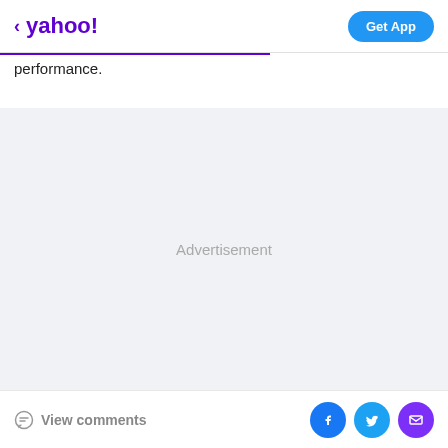yahoo! | Get App
performance.
[Figure (other): Advertisement placeholder area with light gray background]
View comments | Facebook share | Twitter share | Email share